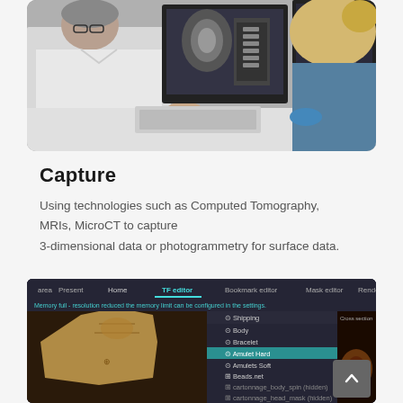[Figure (photo): Two medical professionals, one in a white coat wearing glasses and one with blonde hair in a bun wearing blue gloves, looking at medical imaging screens showing MRI/CT scans of a spine and body.]
Capture
Using technologies such as Computed Tomography, MRIs, MicroCT to capture 3-dimensional data or photogrammetry for surface data.
[Figure (screenshot): Screenshot of a medical imaging software interface showing a 3D scan of an Egyptian mummy sarcophagus with a menu panel listing items: Shipping, Body, Bracelet, Amulet Hard (highlighted in teal), Amulets Soft, Beads Net, Cartonnage Body Spin (hidden), Cartonnage Head Mask (hidden). A cross-section view is visible on the right side.]